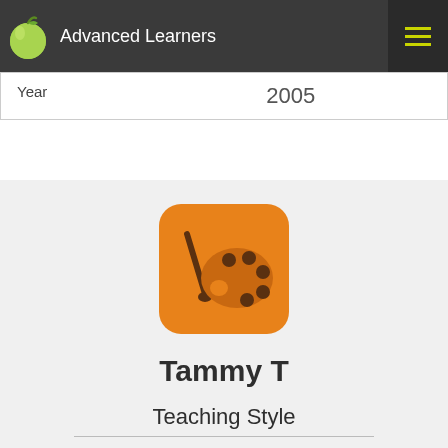Advanced Learners
| Year |  |
| --- | --- |
| Year | 2005 |
[Figure (logo): Orange rounded square app icon with a paint palette and brush illustration]
Tammy T
Teaching Style
I love teaching in an environment where the student is made to feel comfortable and that their efforts are rewarded and appreciated. I like to provide my students with as many tools as possible to make sure they get the most thorough understanding of a